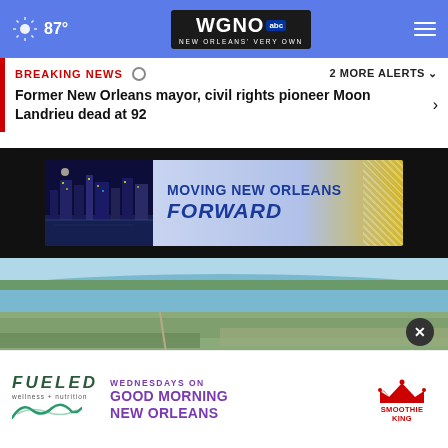87° WGNO ABC New Orleans' Very Own
BREAKING NEWS  2 MORE ALERTS ▾
Former New Orleans mayor, civil rights pioneer Moon Landrieu dead at 92
[Figure (photo): Advertisement banner: Moving New Orleans Forward, showing city skyline at night on left and blue/yellow text on right]
[Figure (photo): Aerial photograph of New Orleans area showing river, green areas, industrial buildings and city landscape]
[Figure (photo): Advertisement banner: Fueled wellness + nutrition - Wednesdays on Good Morning New Orleans, Smoothie King]